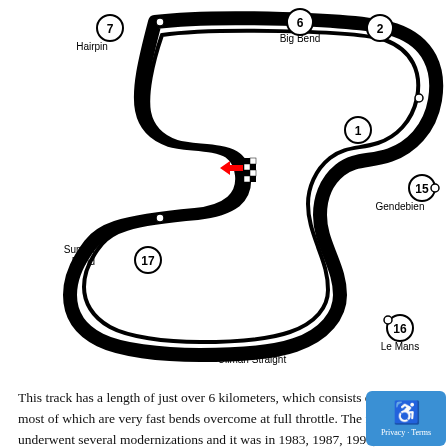[Figure (other): Racing circuit map showing a track layout with labeled corners and straights. Numbered corners include: 7 Hairpin (top left), 6 Big Bend (top center), 2 (top right), 1 (right center), 15 Gendebien (far right), 16 Le Mans (bottom right), 17 Sunset Bend (left), and Ullman Straight labeled at bottom. A red arrow and checkered flag pattern marks the start/finish line.]
This track has a length of just over 6 kilometers, which consists of 17 turns, most of which are very fast bends overcome at full throttle. The facility underwent several modernizations and it was in 1983, 1987, 1991, 1996 but the owners of this track did not forget about its roots and each time they even left a scrap of a section made of Concrete slabs of a structure that still remembers World War II. Currently, about 20% of the track consists of such elements, so the track can be considered quite uneven, and as a result, when falling from under cars, they fall apart striking
Quite a tale about this track, however, let's focus on the closest